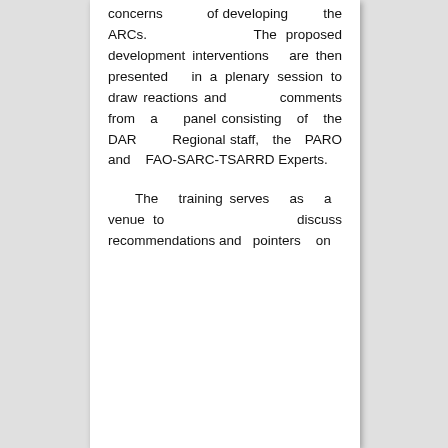concerns of developing the ARCs. The proposed development interventions are then presented in a plenary session to draw reactions and comments from a panel consisting of the DAR Regional staff, the PARO and FAO-SARC-TSARRD Experts.
The training serves as a venue to discuss recommendations and pointers on